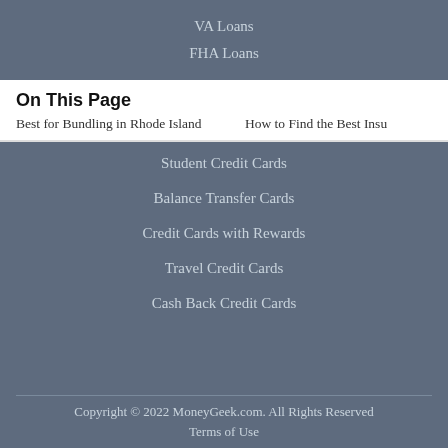VA Loans
FHA Loans
On This Page
Best for Bundling in Rhode Island    How to Find the Best Insu
Student Credit Cards
Balance Transfer Cards
Credit Cards with Rewards
Travel Credit Cards
Cash Back Credit Cards
Copyright © 2022 MoneyGeek.com. All Rights Reserved
Terms of Use